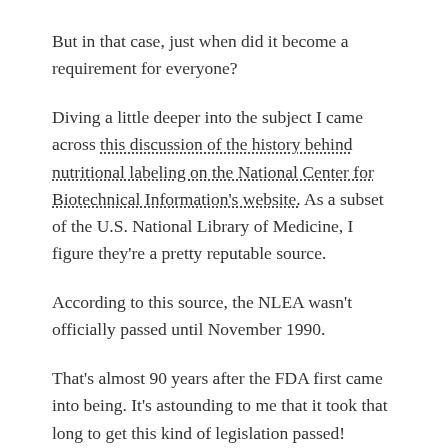But in that case, just when did it become a requirement for everyone?
Diving a little deeper into the subject I came across this discussion of the history behind nutritional labeling on the National Center for Biotechnical Information's website. As a subset of the U.S. National Library of Medicine, I figure they're a pretty reputable source.
According to this source, the NLEA wasn't officially passed until November 1990.
That's almost 90 years after the FDA first came into being. It's astounding to me that it took that long to get this kind of legislation passed!
Perhaps that's hindsight bias in some respect. Food labels are so ubiquitous in the 21st century, and they're the butt